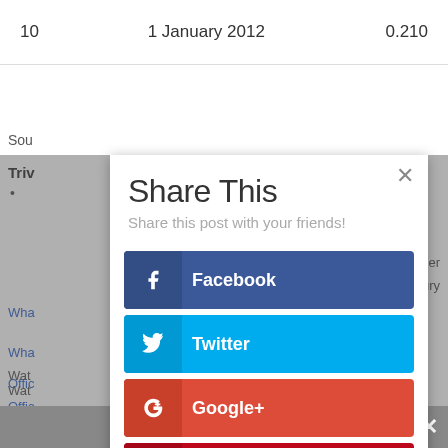| 10 | 1 January 2012 | 0.210 |
Sou
Triv
•
er
ury
Offic
Offic
Wha
Wha
Wat
Wat
New
[Figure (screenshot): Share This modal dialog with social media share buttons: Facebook, Twitter, Google+, Pinterest, reddit, LinkedIn]
•